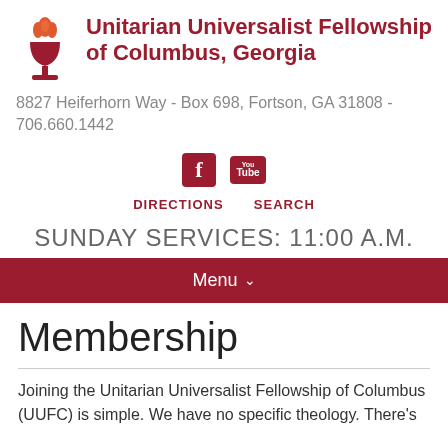Unitarian Universalist Fellowship of Columbus, Georgia
8827 Heiferhorn Way - Box 698, Fortson, GA 31808 - 706.660.1442
[Figure (logo): UU chalice flame logo and Facebook/YouTube social icons]
DIRECTIONS   SEARCH
SUNDAY SERVICES: 11:00 A.M.
Menu
Membership
Joining the Unitarian Universalist Fellowship of Columbus (UUFC) is simple. We have no specific theology. There's